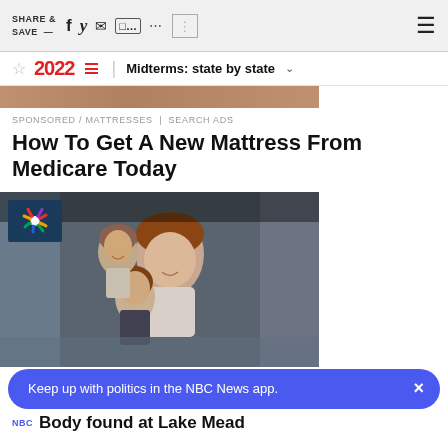SHARE & SAVE —
[Figure (logo): NBC 2022 Midterms navigation bar with star icon, 2022 in red, horizontal lines, and 'Midterms: state by state' dropdown]
[Figure (photo): Cropped top portion of a photograph, brownish tones]
SPONSORED / MATTRESSES | SEARCH ADS
How To Get A New Mattress From Medicare Today
[Figure (photo): NBC News photo showing a family portrait with a woman and two children in an old photograph, with NBC peacock logo overlay in upper left corner]
Keep up with politics in the NBC News app.
NBC
Body found at Lake Mead